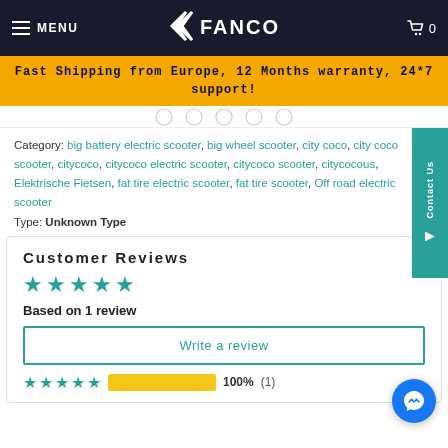MENU | FANCO | Cart 0
Fast Shipping from Europe, 12 Months warranty, 24*7 support!
Category: big battery electric scooter, big wheel scooter, city coco, city coco scooter, citycoco, citycoco electric scooter, citycoco scooter, citycocous, Elektrische Fietsen, fat tire electric scooter, fat tire scooter, Off road electric scooter
Type: Unknown Type
Customer Reviews
Based on 1 review
Write a review
100%  (1)